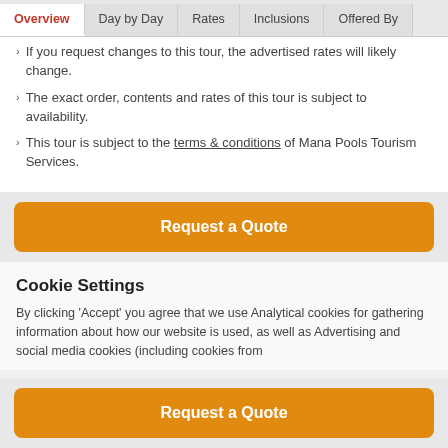Overview | Day by Day | Rates | Inclusions | Offered By
If you request changes to this tour, the advertised rates will likely change.
The exact order, contents and rates of this tour is subject to availability.
This tour is subject to the terms & conditions of Mana Pools Tourism Services.
Request a Quote
Cookie Settings
By clicking 'Accept' you agree that we use Analytical cookies for gathering information about how our website is used, as well as Advertising and social media cookies (including cookies from
Request a Quote